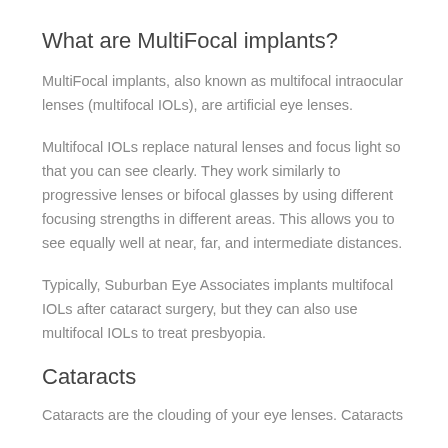What are MultiFocal implants?
MultiFocal implants, also known as multifocal intraocular lenses (multifocal IOLs), are artificial eye lenses.
Multifocal IOLs replace natural lenses and focus light so that you can see clearly. They work similarly to progressive lenses or bifocal glasses by using different focusing strengths in different areas. This allows you to see equally well at near, far, and intermediate distances.
Typically, Suburban Eye Associates implants multifocal IOLs after cataract surgery, but they can also use multifocal IOLs to treat presbyopia.
Cataracts
Cataracts are the clouding of your eye lenses. Cataracts